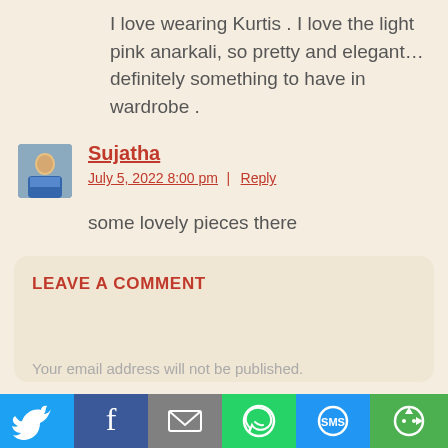I love wearing Kurtis . I love the light pink anarkali, so pretty and elegant… definitely something to have in wardrobe .
Sujatha
July 5, 2022 8:00 pm | Reply
some lovely pieces there
LEAVE A COMMENT
Your email address will not be published.